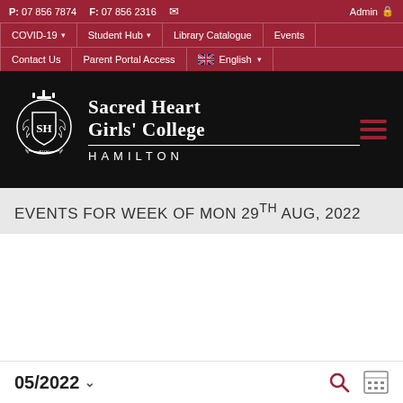P: 07 856 7874  F: 07 856 2316  Admin
COVID-19  Student Hub  Library Catalogue  Events
Contact Us  Parent Portal Access  English
[Figure (logo): Sacred Heart Girls' College Hamilton crest logo in white on black background]
Sacred Heart Girls' College HAMILTON
EVENTS FOR WEEK OF MON 29TH AUG, 2022
05/2022